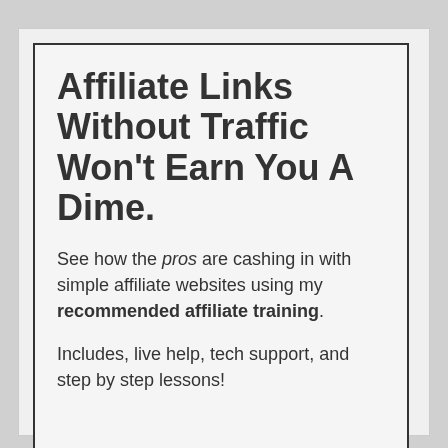Affiliate Links Without Traffic Won't Earn You A Dime.
See how the pros are cashing in with simple affiliate websites using my recommended affiliate training.
Includes, live help, tech support, and step by step lessons!